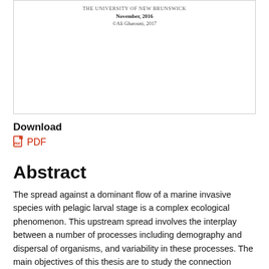[Figure (other): Preview box showing thesis cover page with university name, date November 2016, and copyright notice for Ali Gharouni 2017]
Download
PDF
Abstract
The spread against a dominant flow of a marine invasive species with pelagic larval stage is a complex ecological phenomenon. This upstream spread involves the interplay between a number of processes including demography and dispersal of organisms, and variability in these processes. The main objectives of this thesis are to study the connection between dispersal, demography and spread in this setting and to understand the effect of